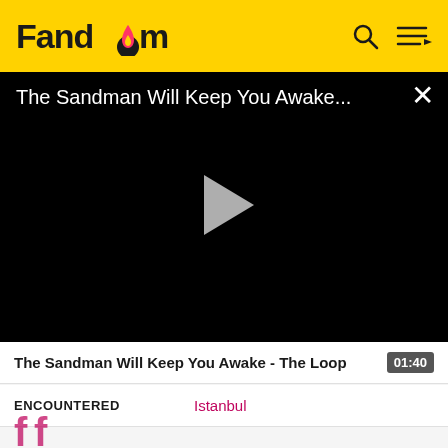Fandom
[Figure (screenshot): Black video player showing title 'The Sandman Will Keep You Awake...' with a play button in the center and a close (X) button in the top right]
The Sandman Will Keep You Awake - The Loop   01:40
ENCOUNTERED   Istanbul